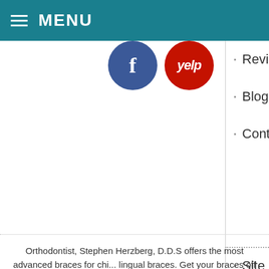MENU
[Figure (logo): Facebook circular blue icon with white 'f' letter]
[Figure (logo): Yelp circular red icon with white 'yelp' text]
Review...
Blog
Contac...
Site Ma...
Privacy...
Web Ac...
Orthodontist, Stephen Herzberg, D.D.S offers the most advanced braces for chi... lingual braces. Get your braces off 50% faster with orthodontist, Dr. Stephen...